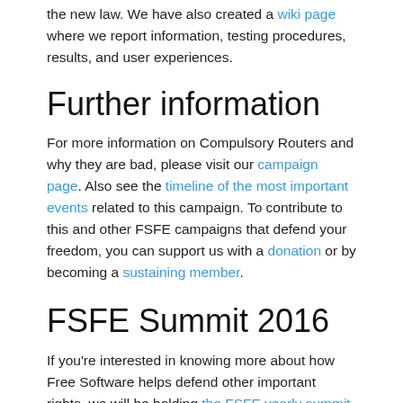the new law. We have also created a wiki page where we report information, testing procedures, results, and user experiences.
Further information
For more information on Compulsory Routers and why they are bad, please visit our campaign page. Also see the timeline of the most important events related to this campaign. To contribute to this and other FSFE campaigns that defend your freedom, you can support us with a donation or by becoming a sustaining member.
FSFE Summit 2016
If you're interested in knowing more about how Free Software helps defend other important rights, we will be holding the FSFE yearly summit at the beginning of September in Berlin. Come along and discover how you can also help return the control over technology to people.